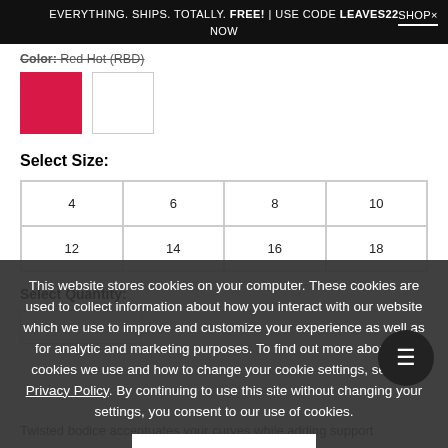EVERYTHING. SHIPS. TOTALLY. FREE! | USE CODE LEAVES22   SHOP× NOW
Color: Red Hot (RBD)
[Figure (illustration): Two color swatches: a red/crimson square (selected) and a white square with grey border]
Select Size:
| 4 | 6 | 8 | 10 |
| 12 | 14 | 16 | 18 |
This website stores cookies on your computer. These cookies are used to collect information about how you interact with our website which we use to improve and customize your experience as well as for analytic and marketing purposes. To find out more about the cookies we use and how to change your cookie settings, see our Privacy Policy. By continuing to use this site without changing your settings, you consent to our use of cookies.
I AGREE
Select Quantity:
1
Twisted bodice accentuates your curves while adding support